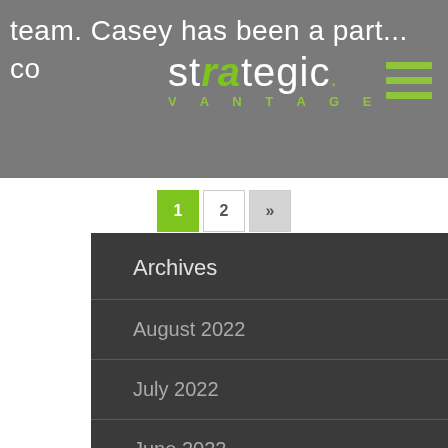team. Casey has been a part... co...
[Figure (logo): Strategic Vantage logo with green highlight on 'ra' letters and VANTAGE text below]
1 2 »
Archives
August 2022
July 2022
June 2022
May 2022